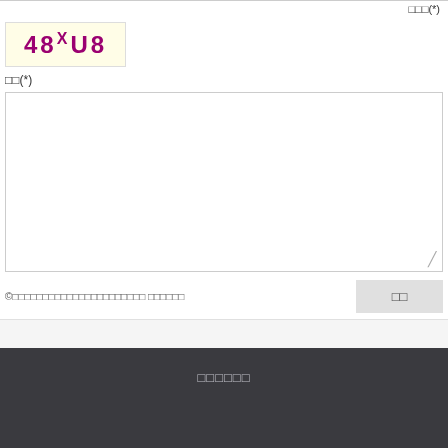□□□(*)
[Figure (other): CAPTCHA image showing '48XU8' in purple handwritten-style text on a yellow background]
□□(*)
©□□□□□□□□□□□□□□□□□□□□□□ □□□□□□
□□
□□□□□□